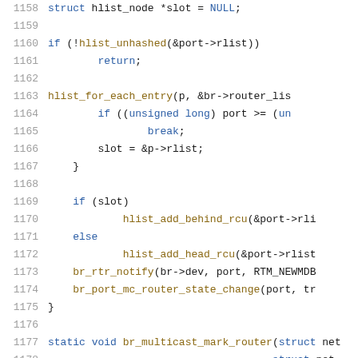Code snippet: lines 1158-1178 of C source file showing br_multicast functions
1158    struct hlist_node *slot = NULL;
1159    (empty)
1160    if (!hlist_unhashed(&port->rlist))
1161            return;
1162    (empty)
1163    hlist_for_each_entry(p, &br->router_lis
1164            if ((unsigned long) port >= (un
1165                    break;
1166            slot = &p->rlist;
1167    }
1168    (empty)
1169    if (slot)
1170            hlist_add_behind_rcu(&port->rli
1171    else
1172            hlist_add_head_rcu(&port->rlist
1173    br_rtr_notify(br->dev, port, RTM_NEWMDB
1174    br_port_mc_router_state_change(port, tr
1175    }
1176    (empty)
1177    static void br_multicast_mark_router(struct net
1178                                        struct net